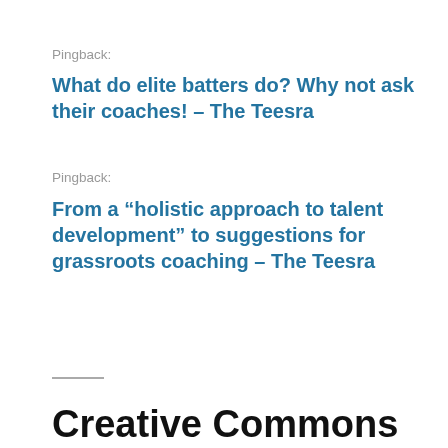Pingback:
What do elite batters do? Why not ask their coaches! – The Teesra
Pingback:
From a “holistic approach to talent development” to suggestions for grassroots coaching – The Teesra
Creative Commons